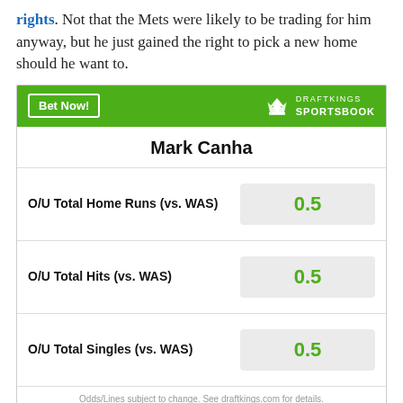rights. Not that the Mets were likely to be trading for him anyway, but he just gained the right to pick a new home should he want to.
| Bet | Value |
| --- | --- |
| O/U Total Home Runs (vs. WAS) | 0.5 |
| O/U Total Hits (vs. WAS) | 0.5 |
| O/U Total Singles (vs. WAS) | 0.5 |
Odds/Lines subject to change. See draftkings.com for details.
[Figure (other): Blue banner advertisement at bottom of page]